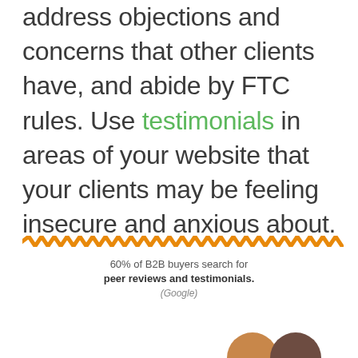address objections and concerns that other clients have, and abide by FTC rules. Use testimonials in areas of your website that your clients may be feeling insecure and anxious about.
[Figure (infographic): Decorative zigzag orange divider line separating text from infographic section]
60% of B2B buyers search for peer reviews and testimonials. (Google)
[Figure (illustration): Illustration of a Google search bar with teal rounded border showing 'Search' placeholder text, Google G logo, and a search magnifier button; alongside red and teal speech bubble chat icons with three dots, and partial heads of two people]